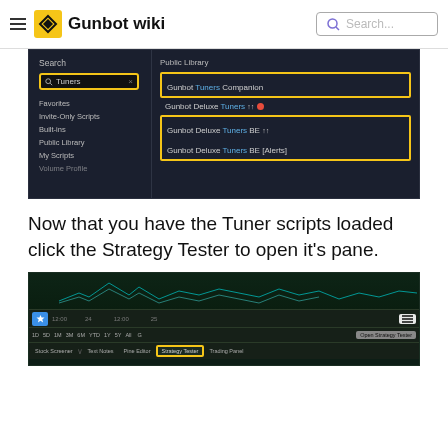Gunbot wiki
[Figure (screenshot): TradingView pine script search panel showing 'Tuners' search results including Gunbot Tuners Companion, Gunbot Deluxe Tuners, Gunbot Deluxe Tuners BE, and Gunbot Deluxe Tuners BE [Alerts] with yellow highlight borders]
Now that you have the Tuner scripts loaded click the Strategy Tester to open it's pane.
[Figure (screenshot): TradingView chart bottom toolbar showing Strategy Tester tab highlighted in yellow border and Open Strategy Tester tooltip]